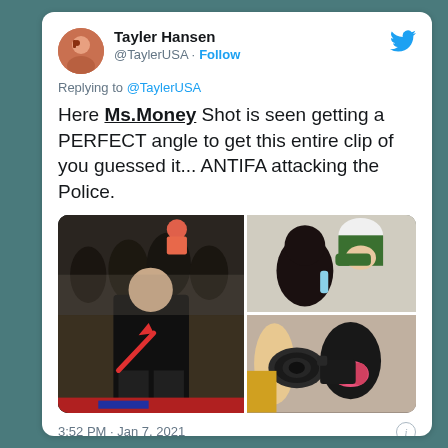Tayler Hansen @TaylerUSA · Follow
Replying to @TaylerUSA
Here Ms.Money Shot is seen getting a PERFECT angle to get this entire clip of you guessed it... ANTIFA attacking the Police.
[Figure (photo): Three photos: left shows crowd scene with red arrow pointing to person in pink mask; top right shows person with helmet and officer; bottom right shows person with pink respirator mask and camera.]
3:52 PM · Jan 7, 2021